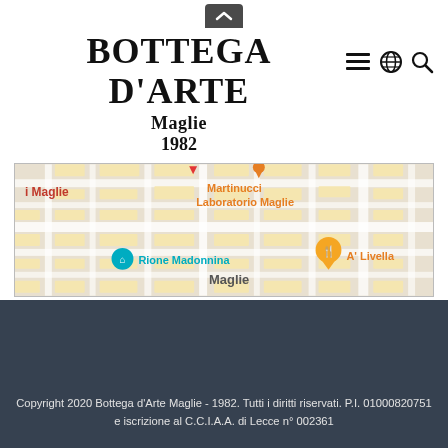[Figure (screenshot): Chevron/collapse button at top of page]
BOTTEGA D'ARTE
Maglie
1982
[Figure (map): Google Maps screenshot showing Maglie area with markers: Martinucci Laboratorio Maglie (orange), A' Livella (orange restaurant pin), Rione Madonnina (teal blue), i Maglie (red)]
Copyright 2020 Bottega d'Arte Maglie - 1982. Tutti i diritti riservati. P.I. 01000820751 e iscrizione al C.C.I.A.A. di Lecce n° 002361